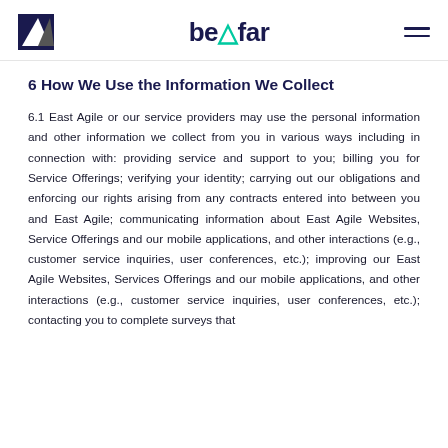beAfar
6 How We Use the Information We Collect
6.1 East Agile or our service providers may use the personal information and other information we collect from you in various ways including in connection with: providing service and support to you; billing you for Service Offerings; verifying your identity; carrying out our obligations and enforcing our rights arising from any contracts entered into between you and East Agile; communicating information about East Agile Websites, Service Offerings and our mobile applications, and other interactions (e.g., customer service inquiries, user conferences, etc.); improving our East Agile Websites, Services Offerings and our mobile applications, and other interactions (e.g., customer service inquiries, user conferences, etc.); contacting you to complete surveys that